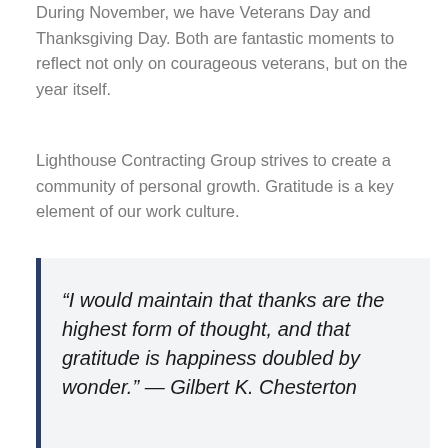During November, we have Veterans Day and Thanksgiving Day. Both are fantastic moments to reflect not only on courageous veterans, but on the year itself.
Lighthouse Contracting Group strives to create a community of personal growth. Gratitude is a key element of our work culture.
“I would maintain that thanks are the highest form of thought, and that gratitude is happiness doubled by wonder.” — Gilbert K. Chesterton